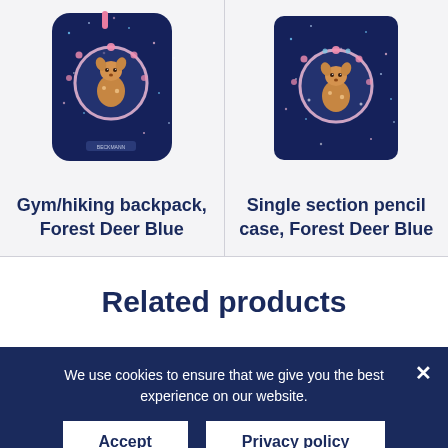[Figure (photo): Navy blue gym/hiking backpack with Forest Deer Blue illustration — a cartoon deer in a pink floral circle on a dark glittery background]
[Figure (photo): Navy blue single section pencil case with Forest Deer Blue illustration — a cartoon deer in a pink floral circle on a dark glittery background]
Gym/hiking backpack, Forest Deer Blue
Single section pencil case, Forest Deer Blue
Related products
We use cookies to ensure that we give you the best experience on our website.